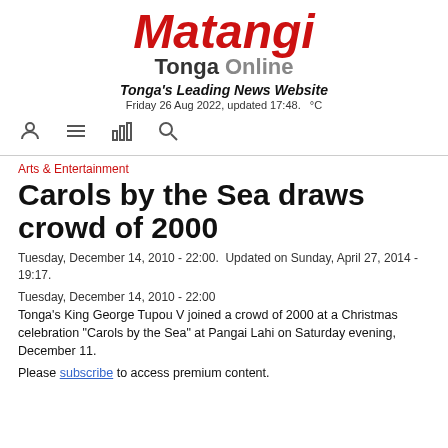Matangi Tonga Online — Tonga's Leading News Website — Friday 26 Aug 2022, updated 17:48. °C
[Figure (logo): Matangi Tonga Online logo with red italic Matangi text, bold Tonga Online subtitle]
Arts & Entertainment
Carols by the Sea draws crowd of 2000
Tuesday, December 14, 2010 - 22:00.  Updated on Sunday, April 27, 2014 - 19:17.
Tuesday, December 14, 2010 - 22:00
Tonga's King George Tupou V joined a crowd of 2000 at a Christmas celebration "Carols by the Sea" at Pangai Lahi on Saturday evening, December 11.
Please subscribe to access premium content.